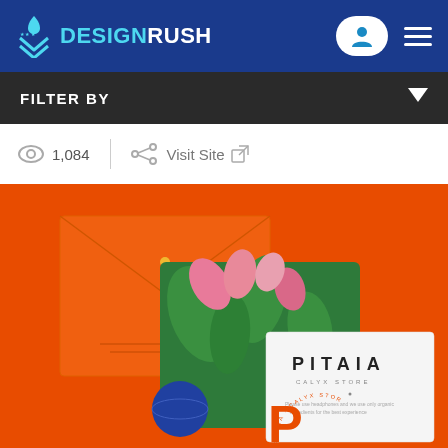[Figure (logo): DesignRush website header with blue background, logo on left, user icon and hamburger menu on right]
FILTER BY
1,084  Visit Site
[Figure (photo): Orange background with branded stationery: envelope, floral print card, and PITAIA business card with large orange P]